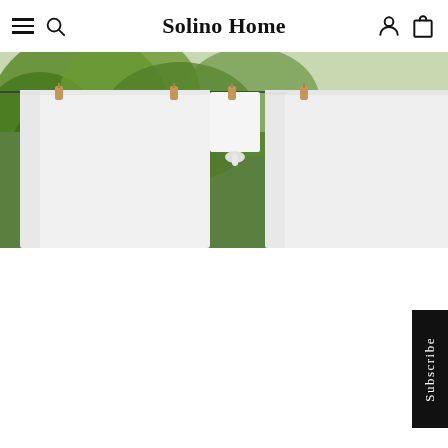Solino Home
[Figure (photo): White linen shirts or garments hanging on a clothesline outdoors with wooden clothespins, green trees visible in the background]
Subscribe